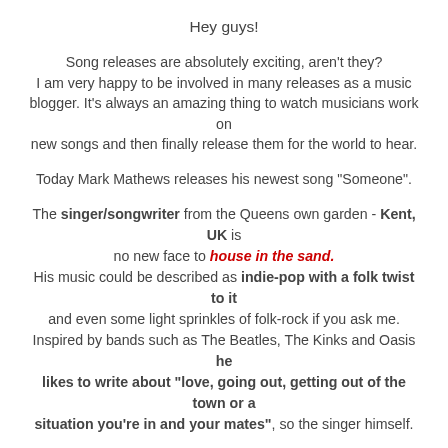Hey guys!
Song releases are absolutely exciting, aren't they? I am very happy to be involved in many releases as a music blogger. It's always an amazing thing to watch musicians work on new songs and then finally release them for the world to hear.
Today Mark Mathews releases his newest song "Someone".
The singer/songwriter from the Queens own garden - Kent, UK is no new face to house in the sand. His music could be described as indie-pop with a folk twist to it and even some light sprinkles of folk-rock if you ask me. Inspired by bands such as The Beatles, The Kinks and Oasis he likes to write about "love, going out, getting out of the town or a situation you're in and your mates", so the singer himself.
Mark has been really busy recently shooting videos, writing new tunes and gigging his way through London's streets and bar's.
"Someone" is one of Mark's slower songs, in fact it's a ballad. The song wins you over with Mark's calm vocals. The instrumental is spot on a mixes soothing acoustic guitar elements with